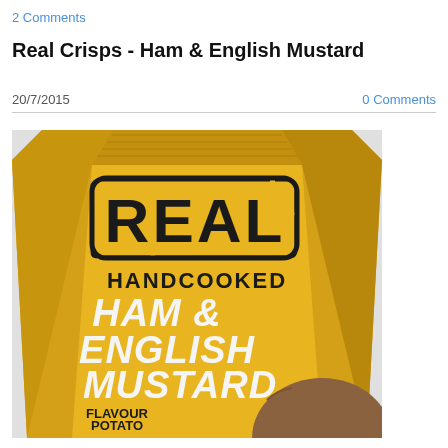2 Comments
Real Crisps - Ham & English Mustard
20/7/2015
0 Comments
[Figure (photo): A golden yellow crisp packet for 'REAL HANDCOOKED HAM & ENGLISH MUSTARD FLAVOUR POTATO CRISPS' with a person's face partially visible at the bottom right of the packet.]